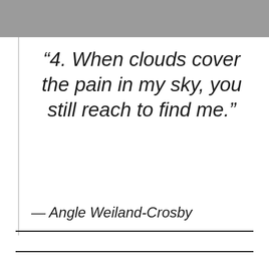[Figure (other): Gray decorative bar at top of page]
“4. When clouds cover the pain in my sky, you still reach to find me.”
— Angle Weiland-Crosby